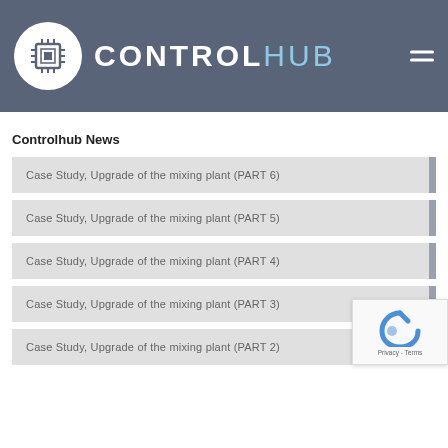CONTROLHUB
Controlhub News
Case Study, Upgrade of the mixing plant (PART 6)
Case Study, Upgrade of the mixing plant (PART 5)
Case Study, Upgrade of the mixing plant (PART 4)
Case Study, Upgrade of the mixing plant (PART 3)
Case Study, Upgrade of the mixing plant (PART 2)